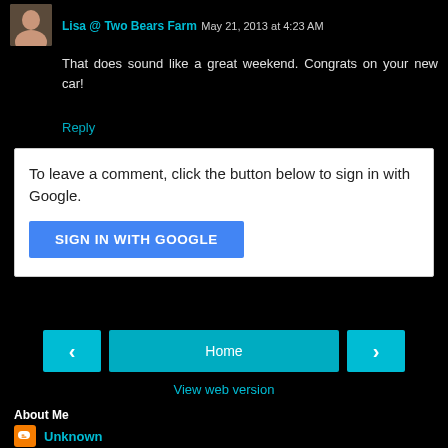Lisa @ Two Bears Farm May 21, 2013 at 4:23 AM
That does sound like a great weekend. Congrats on your new car!
Reply
To leave a comment, click the button below to sign in with Google.
SIGN IN WITH GOOGLE
Home
View web version
About Me
Unknown
View my complete profile
Powered by Blogger.